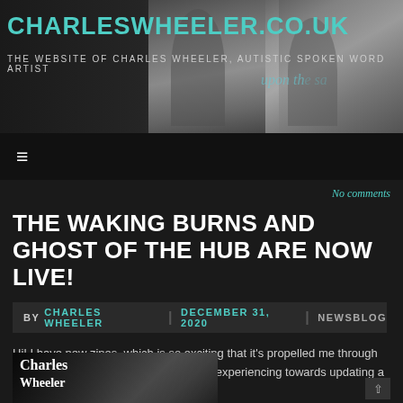CHARLESWHEELER.CO.UK — THE WEBSITE OF CHARLES WHEELER, AUTISTIC SPOKEN WORD ARTIST
[Figure (photo): Header banner with photos of Charles Wheeler performing spoken word, partially obscured by overlay text]
≡
No comments
THE WAKING BURNS AND GHOST OF THE HUB ARE NOW LIVE!
BY CHARLES WHEELER   DECEMBER 31, 2020   NEWSBLOG
Hi! I have new zines, which is so exciting that it's propelled me through the wall of executive function I've been experiencing towards updating a website all year!
[Figure (photo): Black and white image showing trees, with text overlay reading 'Charles Wheeler']